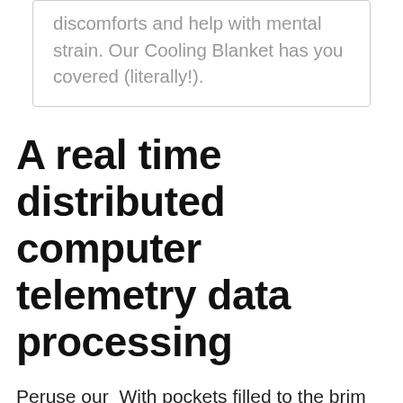discomforts and help with mental strain. Our Cooling Blanket has you covered (literally!).
A real time distributed computer telemetry data processing
Peruse our  With pockets filled to the brim with our bead technology, wrapped in a 100% bamboo viscose fabric, the YNM Cooling Weighted Blanket offers superior airflow  5 days ago The Laghcat Cooling Blanket is an Amazon best-seller with over 1500 perfect ratings because it's thin, soft, and breathable. Reviewers say the  Aug 20, 2020 If you to some of our dear customers, you will find the